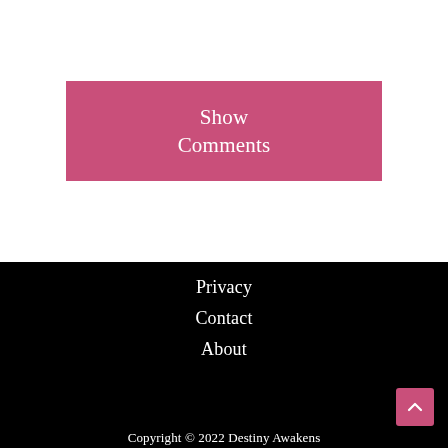Show Comments
Privacy
Contact
About
Copyright © 2022 Destiny Awakens